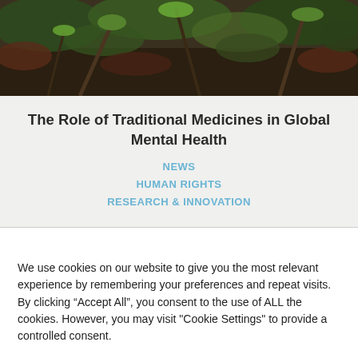[Figure (photo): Close-up photograph of plants and foliage, dark green and brown tones, natural outdoor setting]
The Role of Traditional Medicines in Global Mental Health
NEWS
HUMAN RIGHTS
RESEARCH & INNOVATION
We use cookies on our website to give you the most relevant experience by remembering your preferences and repeat visits. By clicking “Accept All”, you consent to the use of ALL the cookies. However, you may visit "Cookie Settings" to provide a controlled consent.
Cookie Settings | Accept All